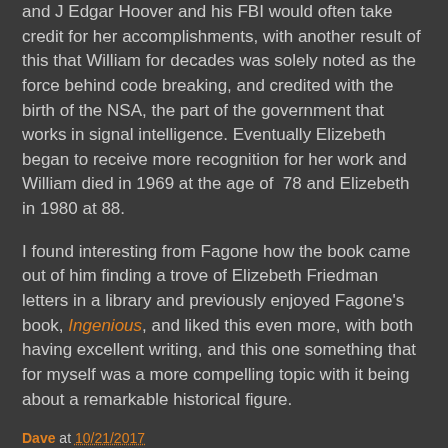and J Edgar Hoover and his FBI would often take credit for her accomplishments, with another result of this that William for decades was solely noted as the force behind code breaking, and credited with the birth of the NSA, the part of the government that works in signal intelligence. Eventually Elizebeth began to receive more recognition for her work and William died in 1969 at the age of 78 and Elizebeth in 1980 at 88.
I found interesting from Fagone how the book came out of him finding a trove of Elizebeth Friedman letters in a library and previously enjoyed Fagone's book, Ingenious, and liked this even more, with both having excellent writing, and this one something that for myself was a more compelling topic with it being about a remarkable historical figure.
Dave at 10/21/2017
Share
Sunday, October 15, 2017
The Subtle Art of Not Giving a F***k